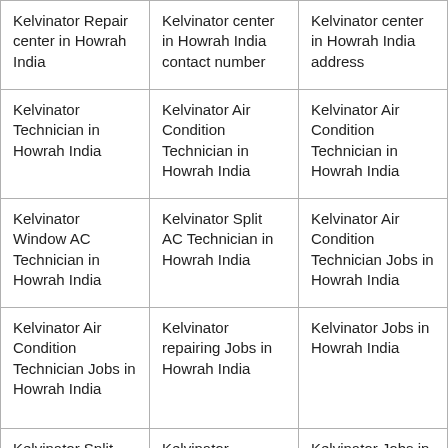| Kelvinator Repair center in Howrah India | Kelvinator center in Howrah India contact number | Kelvinator center in Howrah India address |
| Kelvinator Technician in Howrah India | Kelvinator Air Condition Technician in Howrah India | Kelvinator Air Condition Technician in Howrah India |
| Kelvinator Window AC Technician in Howrah India | Kelvinator Split AC Technician in Howrah India | Kelvinator Air Condition Technician Jobs in Howrah India |
| Kelvinator Air Condition Technician Jobs in Howrah India | Kelvinator repairing Jobs in Howrah India | Kelvinator Jobs in Howrah India |
| Kelvinator Split AC Jobs in Howrah India | Kelvinator Window AC Repair Jobs in | Kelvinator Jobs in Howrah India |